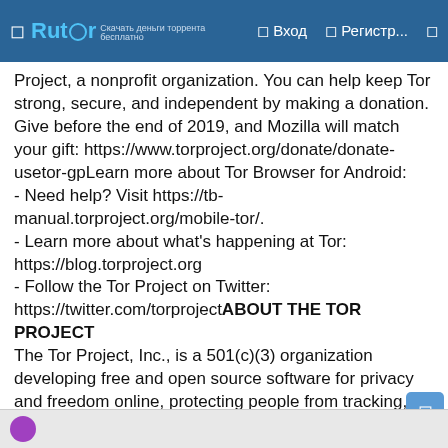Rutor — Вход Регистр...
Project, a nonprofit organization. You can help keep Tor strong, secure, and independent by making a donation. Give before the end of 2019, and Mozilla will match your gift: https://www.torproject.org/donate/donate-usetor-gpLearn more about Tor Browser for Android:
- Need help? Visit https://tb-manual.torproject.org/mobile-tor/.
- Learn more about what's happening at Tor: https://blog.torproject.org
- Follow the Tor Project on Twitter: https://twitter.com/torprojectABOUT THE TOR PROJECT
The Tor Project, Inc., is a 501(c)(3) organization developing free and open source software for privacy and freedom online, protecting people from tracking, surveillance, and censorship. The Tor Project's mission is to advance human rights and freedoms by creating and deploying free and open source anonymity and privacy technologies, support their unrestricted availability and use, and further their scientific and popular understanding.